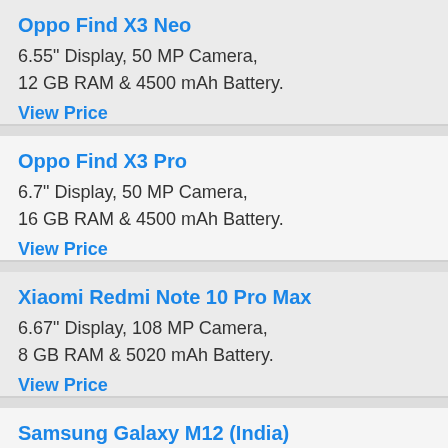Oppo Find X3 Neo
6.55" Display, 50 MP Camera, 12 GB RAM & 4500 mAh Battery.
View Price
Oppo Find X3 Pro
6.7" Display, 50 MP Camera, 16 GB RAM & 4500 mAh Battery.
View Price
Xiaomi Redmi Note 10 Pro Max
6.67" Display, 108 MP Camera, 8 GB RAM & 5020 mAh Battery.
View Price
Samsung Galaxy M12 (India)
6.5" Display, 48 MP Camera, 6 GB RAM & 6000 mAh Battery.
View Price